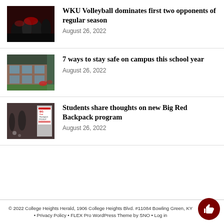[Figure (photo): WKU volleyball crowd photo, fans in red and black uniforms celebrating]
WKU Volleyball dominates first two opponents of regular season
August 26, 2022
[Figure (photo): Campus building exterior with students sitting outside on grass]
7 ways to stay safe on campus this school year
August 26, 2022
[Figure (photo): Big Red Backpack Pickup sign in a school hallway]
Students share thoughts on new Big Red Backpack program
August 26, 2022
© 2022 College Heights Herald, 1906 College Heights Blvd. #11084 Bowling Green, KY • Privacy Policy • FLEX Pro WordPress Theme by SNO • Log in